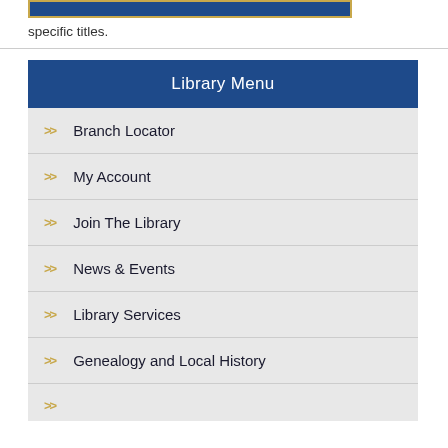[Figure (other): Blue bar with gold border, partial UI element at top]
specific titles.
Library Menu
Branch Locator
My Account
Join The Library
News & Events
Library Services
Genealogy and Local History